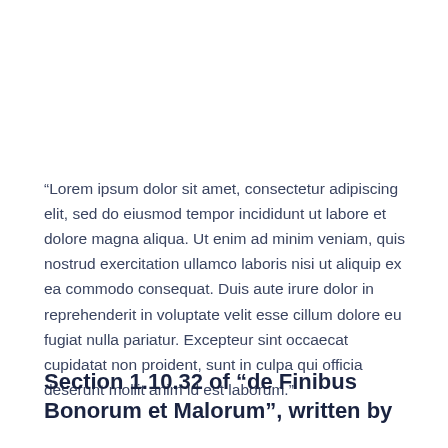“Lorem ipsum dolor sit amet, consectetur adipiscing elit, sed do eiusmod tempor incididunt ut labore et dolore magna aliqua. Ut enim ad minim veniam, quis nostrud exercitation ullamco laboris nisi ut aliquip ex ea commodo consequat. Duis aute irure dolor in reprehenderit in voluptate velit esse cillum dolore eu fugiat nulla pariatur. Excepteur sint occaecat cupidatat non proident, sunt in culpa qui officia deserunt mollit anim id est laborum.”
Section 1.10.32 of “de Finibus Bonorum et Malorum”, written by